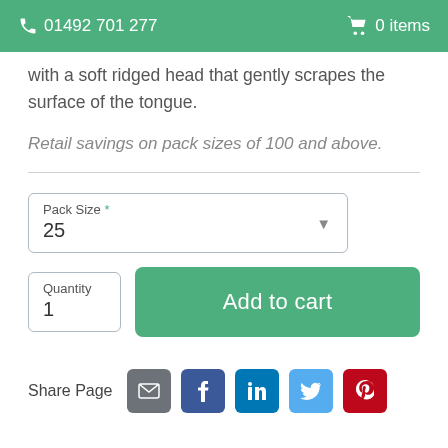01492 701 277  0 items
with a soft ridged head that gently scrapes the surface of the tongue.
Retail savings on pack sizes of 100 and above.
Pack Size * 25
Quantity 1
Add to cart
Share Page